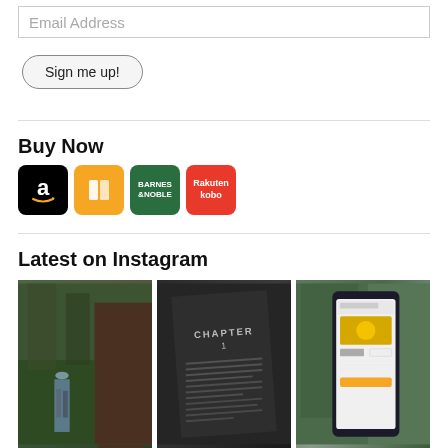Email Address
Sign me up!
Buy Now
[Figure (logo): Amazon, Apple Books, Barnes & Noble, and Rakuten Kobo store icons/buttons]
Latest on Instagram
[Figure (photo): Three Instagram photos: person standing next to large redwood tree, open book showing Chapter 1 page, smartphone displaying an ebook app product page]